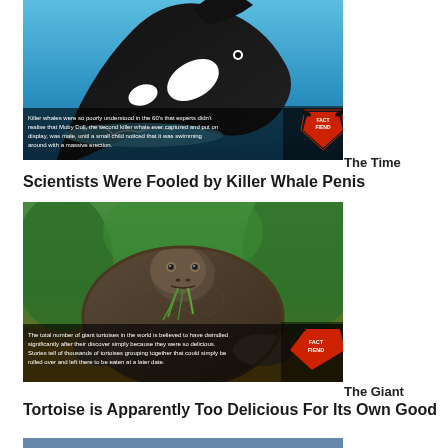[Figure (photo): Killer whale (orca) leaping out of blue water, with a FactFiend logo badge and caption overlay reading: 'Killer whales were so poorly understood in the 60's that experts didn't realise that Moby Doll, the second killer whale ever captured and put on display, was male, until a small child noticed that it was swimming around with a massive erection.']
The Time Scientists Were Fooled by Killer Whale Penis
[Figure (photo): Giant tortoise close-up eating green vegetation, with a FactFiend logo badge and caption overlay reading: 'The total number of giant tortoises in the world is believed to have dwindled significantly after their discover simply because they were so delicious. Stories tell of thousands of tortoises grouping together that could simply be rolled over and left there to be eaten at a later date.']
The Giant Tortoise is Apparently Too Delicious For Its Own Good